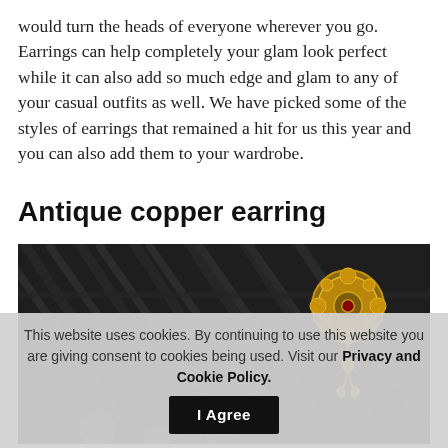would turn the heads of everyone wherever you go. Earrings can help completely your glam look perfect while it can also add so much edge and glam to any of your casual outfits as well. We have picked some of the styles of earrings that remained a hit for us this year and you can also add them to your wardrobe.
Antique copper earring
[Figure (photo): Close-up photo of a gold ornate antique copper earring with floral medallion design resting against a dark slate/brick textured background]
This website uses cookies. By continuing to use this website you are giving consent to cookies being used. Visit our Privacy and Cookie Policy. I Agree